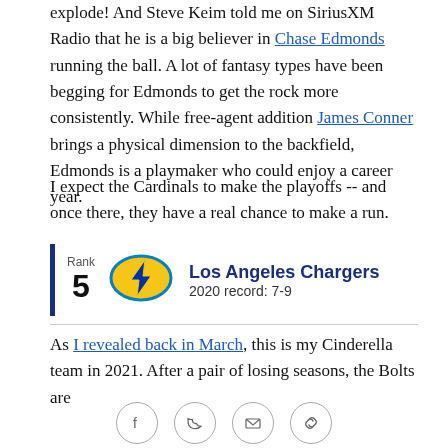explode! And Steve Keim told me on SiriusXM Radio that he is a big believer in Chase Edmonds running the ball. A lot of fantasy types have been begging for Edmonds to get the rock more consistently. While free-agent addition James Conner brings a physical dimension to the backfield, Edmonds is a playmaker who could enjoy a career year.
I expect the Cardinals to make the playoffs -- and once there, they have a real chance to make a run.
[Figure (infographic): Los Angeles Chargers team ranking card. Rank 5, 2020 record: 7-9, with Chargers logo (lightning bolt in gold/yellow with blue outline).]
As I revealed back in March, this is my Cinderella team in 2021. After a pair of losing seasons, the Bolts are
[Figure (infographic): Social sharing icons row: Facebook, Twitter, Email, Link]